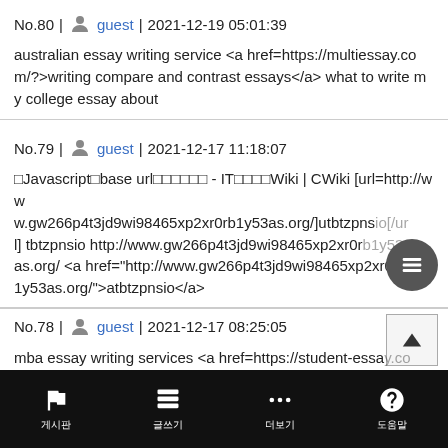No.80 | guest | 2021-12-19 05:01:39
australian essay writing service <a href=https://multiessay.com/?>writing compare and contrast essays</a> what to write my college essay about
No.79 | guest | 2021-12-17 11:18:07
□Javascript□base url□□□□□□ - IT□□□□Wiki | CWiki [url=http://www.gw266p4t3jd9wi98465xp2xr0rb1y53as.org/]utbtzpnsio[/url] tbtzpnsio http://www.gw266p4t3jd9wi98465xp2xr0rb1y53as.org/ <a href="http://www.gw266p4t3jd9wi98465xp2xr0rb1y53as.org/">atbtzpnsio</a>
No.78 | guest | 2021-12-17 08:25:05
mba essay writing services <a href=https://student-essay.com/?>persuasive writing essay</a> professional essay writing se
게시판  글쓰기  더보기  도움말